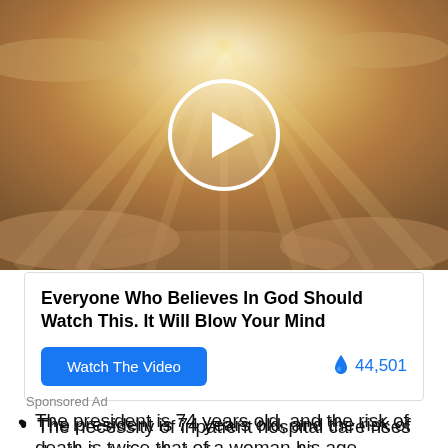[Figure (photo): Video thumbnail showing golden sunrays breaking through clouds with a circular play button overlay]
Everyone Who Believes In God Should Watch This. It Will Blow Your Mind
Watch The Video  🔥 44,501
Sponsored Ad
The president is 74 years old, and the risk of death is twice that of a woman his age.
The necessity of inpatient hospital care rises for individuals over the age of 50.